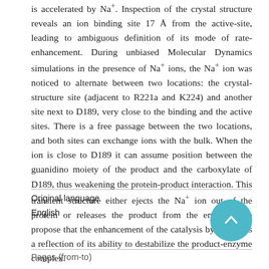is accelerated by Na+. Inspection of the crystal structure reveals an ion binding site 17 Å from the active-site, leading to ambiguous definition of its mode of rate-enhancement. During unbiased Molecular Dynamics simulations in the presence of Na+ ions, the Na+ ion was noticed to alternate between two locations: the crystal-structure site (adjacent to R221a and K224) and another site next to D189, very close to the binding and the active sites. There is a free passage between the two locations, and both sites can exchange ions with the bulk. When the ion is close to D189 it can assume position between the guanidino moiety of the product and the carboxylate of D189, thus weakening the protein-product interaction. This transient structure either ejects the Na+ ion out of the protein or releases the product from the enzyme. We propose that the enhancement of the catalysis by the ion is a reflection of its ability to destabilize the product-enzyme complex.
| Original language |  |
| --- | --- |
| English |  |
| Pages (from-to) |  |